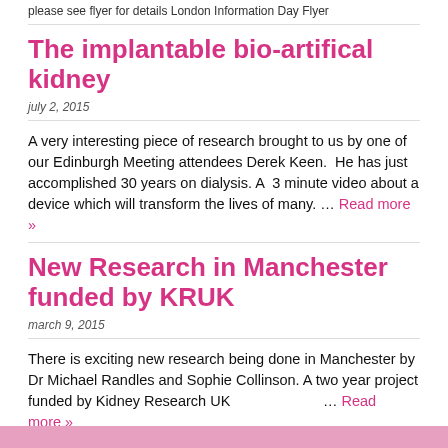please see flyer for details London Information Day Flyer
The implantable bio-artifical kidney
july 2, 2015
A very interesting piece of research brought to us by one of our Edinburgh Meeting attendees Derek Keen.  He has just accomplished 30 years on dialysis. A  3 minute video about a device which will transform the lives of many. ... Read more »
New Research in Manchester funded by KRUK
march 9, 2015
There is exciting new research being done in Manchester by Dr Michael Randles and Sophie Collinson. A two year project funded by Kidney Research UK                               ... Read more »